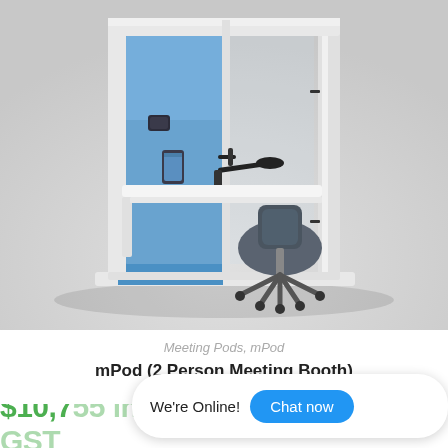[Figure (photo): Product photo of an mPod 2-person meeting booth. A white-framed office privacy booth with blue interior panels, a white work desk, a dark grey office chair on wheels, a desk lamp, and a tablet/phone on the desk. The booth has glass front panels and black hardware accents, set against a light grey background.]
Meeting Pods, mPod
mPod (2 Person Meeting Booth)
$10,7[partially obscured] inc GST
We're Online!  Chat now